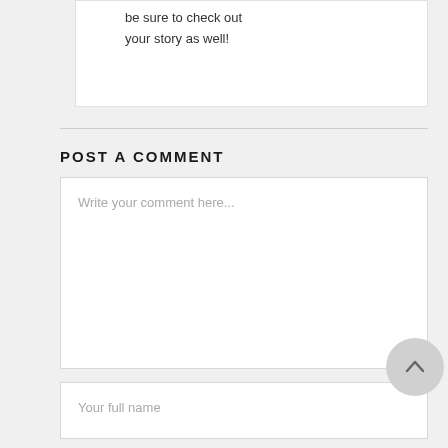Stop by anytime. I'll be sure to check out your story as well!
POST A COMMENT
Write your comment here...
Your full name